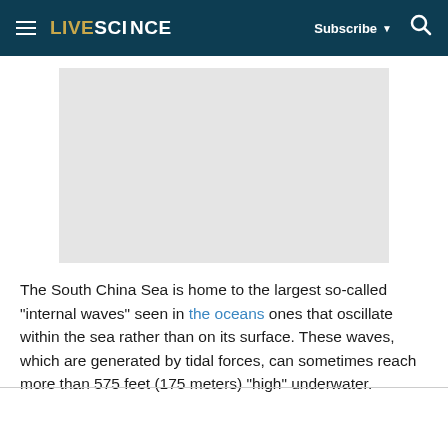LIVESCIENCE | Subscribe | Search
[Figure (other): Gray placeholder advertisement or image block]
The South China Sea is home to the largest so-called "internal waves" seen in the oceans ones that oscillate within the sea rather than on its surface. These waves, which are generated by tidal forces, can sometimes reach more than 575 feet (175 meters) "high" underwater.